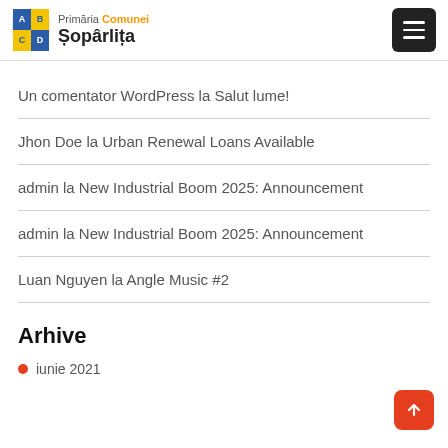Primăria Comunei Șopârlița
Un comentator WordPress la Salut lume!
Jhon Doe la Urban Renewal Loans Available
admin la New Industrial Boom 2025: Announcement
admin la New Industrial Boom 2025: Announcement
Luan Nguyen la Angle Music #2
Arhive
iunie 2021